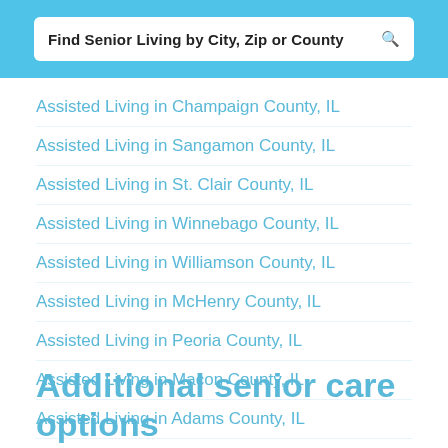Find Senior Living by City, Zip or County
Assisted Living in Champaign County, IL
Assisted Living in Sangamon County, IL
Assisted Living in St. Clair County, IL
Assisted Living in Winnebago County, IL
Assisted Living in Williamson County, IL
Assisted Living in McHenry County, IL
Assisted Living in Peoria County, IL
Assisted Living in Macon County, IL
Assisted Living in Adams County, IL
Assisted Living in Rock Island County, IL
Additio...